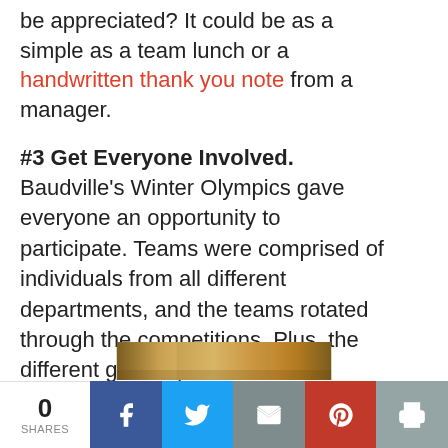be appreciated? It could be as a simple as a team lunch or a handwritten thank you note from a manager.
#3 Get Everyone Involved. Baudville's Winter Olympics gave everyone an opportunity to participate. Teams were comprised of individuals from all different departments, and the teams rotated through the competitions. Plus, the different games provided opportunities for every team member to contribute.
[Figure (photo): Partial photo strip showing a brown/tan colored image, partially cut off at bottom of page]
0 SHARES | Facebook | Twitter | Email | Pinterest | Print